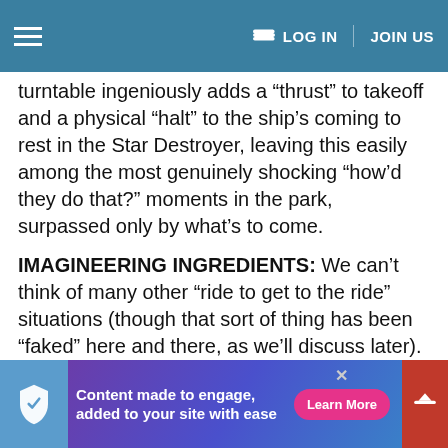LOG IN   JOIN US
turntable ingeniously adds a “thrust” to takeoff and a physical “halt” to the ship’s coming to rest in the Star Destroyer, leaving this easily among the most genuinely shocking “how’d they do that?” moments in the park, surpassed only by what’s to come.
IMAGINEERING INGREDIENTS: We can’t think of many other “ride to get to the ride” situations (though that sort of thing has been “faked” here and there, as we’ll discuss later). But there are a few important precedents here:
[Figure (other): Advertisement banner: Content made to engage, added to your site with ease. Learn More button.]